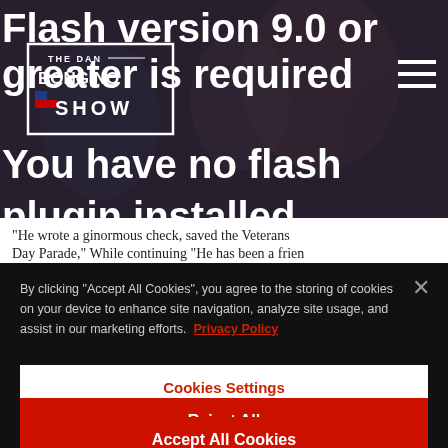[Figure (screenshot): Website header screenshot with dark background, 'The Dan Bongino Show' logo with flag icon, hamburger menu icon on the right, and large white bold text reading 'Flash version 9.0 or greater is required You have no flash plugin installed']
“He wrote a ginormous check, saved the Veterans Day Parade,” While continuing “He has been a friend
By clicking “Accept All Cookies”, you agree to the storing of cookies on your device to enhance site navigation, analyze site usage, and assist in our marketing efforts. Privacy Policy
Cookies Settings
Reject All
Accept All Cookies